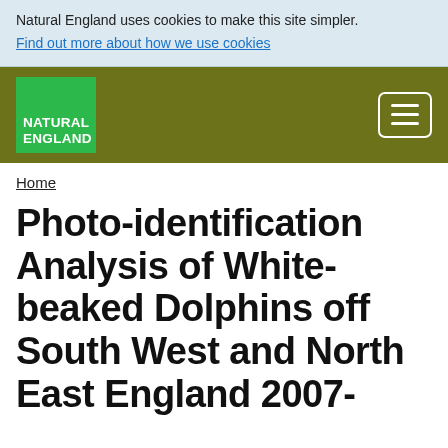Natural England uses cookies to make this site simpler. Find out more about how we use cookies
[Figure (logo): Natural England logo — green square with white text reading NATURAL ENGLAND]
Home
Photo-identification Analysis of White-beaked Dolphins off South West and North East England 2007-